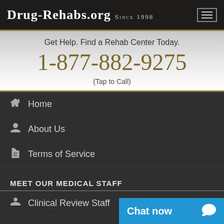Drug-Rehabs.org Since 1998
Get Help. Find a Rehab Center Today.
1-877-882-9275
(Tap to Call)
Home
About Us
Terms of Service
MEET OUR MEDICAL STAFF
Clinical Review Staff
JOIN US
Surveys
Submit your facility
Chat now